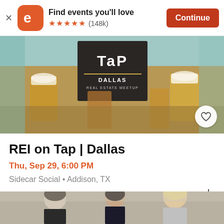[Figure (screenshot): Eventbrite app banner with orange logo icon, 'Find events you'll love' text, five orange stars, (148k) reviews, and a red Continue button]
[Figure (photo): Hero image of beer tap bar with 'Tap Dallas Real Estate Meetup' sign and beer glasses]
REI on Tap | Dallas
Thu, Sep 29, 6:00 PM
Sidecar Social • Addison, TX
Free
[Figure (photo): Bottom photo showing business professionals in formal attire]